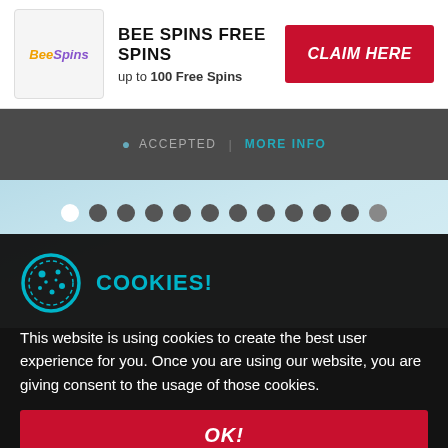[Figure (logo): BeeSpins casino logo — stylized bee icon with yellow and purple italic text]
BEE SPINS FREE SPINS
up to 100 Free Spins
CLAIM HERE
ACCEPTED | MORE INFO
[Figure (infographic): Carousel pagination dots — one white active dot followed by eleven dark grey dots on a light blue background]
COOKIES!
This website is using cookies to create the best user experience for you. Once you are using our website, you are giving consent to the usage of those cookies.
OK!